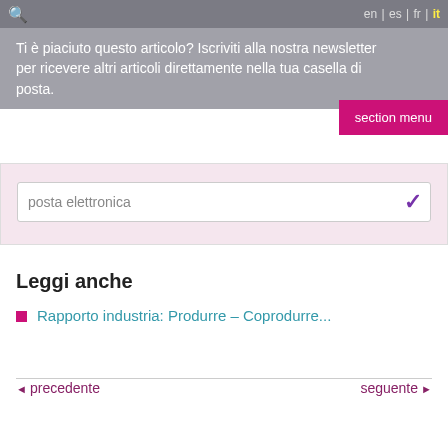en | es | fr | it
Ti è piaciuto questo articolo? Iscriviti alla nostra newsletter per ricevere altri articoli direttamente nella tua casella di posta.
section menu
posta elettronica
Leggi anche
Rapporto industria: Produrre – Coprodurre...
precedente
seguente